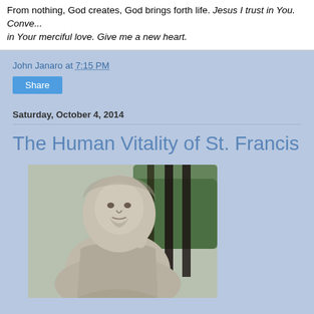From nothing, God creates, God brings forth life. Jesus I trust in You. Conve... in Your merciful love. Give me a new heart.
John Janaro at 7:15 PM
Share
Saturday, October 4, 2014
The Human Vitality of St. Francis
[Figure (photo): Close-up photograph of a stone or concrete statue of St. Francis of Assisi, showing the face and upper torso with a Franciscan habit, with dark metal fence bars and green foliage visible in the background.]